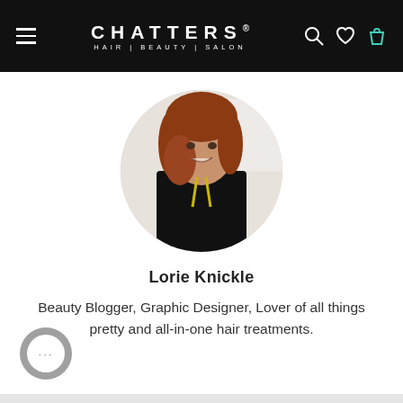CHATTERS. HAIR|BEAUTY|SALON
[Figure (photo): Circular profile photo of Lorie Knickle, a woman with auburn/red hair, smiling, wearing a black top and lanyard, posed in front of a Chatters salon backdrop]
Lorie Knickle
Beauty Blogger, Graphic Designer, Lover of all things pretty and all-in-one hair treatments.